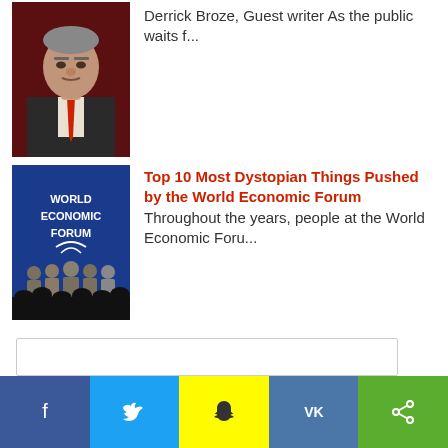[Figure (photo): Close-up photo of an older man in a dark suit with a red tie, against a dark red/black background.]
Derrick Broze, Guest writer As the public waits f...
[Figure (photo): World Economic Forum stage with blue backdrop showing 'WORLD ECONOMIC FORUM' text and logo, with several people standing on stage and an audience silhouette in the foreground.]
Top 10 Most Dystopian Things Pushed by the World Economic Forum Throughout the years, people at the World Economic Foru...
[Figure (other): Social media sharing bar with Facebook, Twitter, Snapchat, VK, and share buttons.]